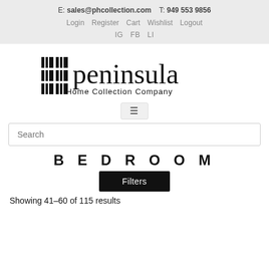E: sales@phcollection.com   T: 949 553 9856
Login   Register   Cart   Wishlist   Logout
IG   FB   LI
[Figure (logo): Peninsula Home Collection Company logo with geometric block letters PE and cursive 'peninsula' wordmark with 'Home Collection Company' subtitle]
≡ (hamburger menu icon)
Search
BEDROOM
Filters
Showing 41–60 of 115 results